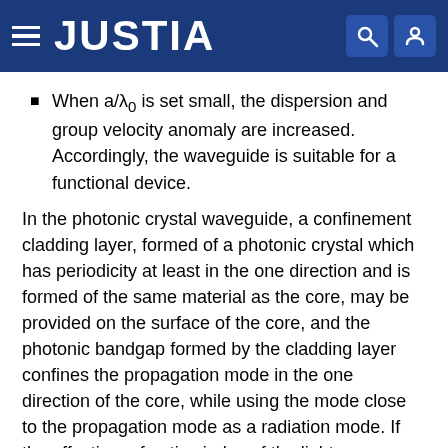JUSTIA
When a/λ₀ is set small, the dispersion and group velocity anomaly are increased. Accordingly, the waveguide is suitable for a functional device.
In the photonic crystal waveguide, a confinement cladding layer, formed of a photonic crystal which has periodicity at least in the one direction and is formed of the same material as the core, may be provided on the surface of the core, and the photonic bandgap formed by the cladding layer confines the propagation mode in the one direction of the core, while using the mode close to the propagation mode as a radiation mode. If the effective refractive index of the light propagated in the waveguide in a direction perpendicular to the one direction is less than one, the leakage of electromagnetic waves in the one direction cannot be